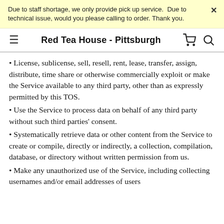Due to staff shortage, we only provide pick up service.  Due to technical issue, would you please calling to order. Thank you.
Red Tea House - Pittsburgh
License, sublicense, sell, resell, rent, lease, transfer, assign, distribute, time share or otherwise commercially exploit or make the Service available to any third party, other than as expressly permitted by this TOS.
Use the Service to process data on behalf of any third party without such third parties' consent.
Systematically retrieve data or other content from the Service to create or compile, directly or indirectly, a collection, compilation, database, or directory without written permission from us.
Make any unauthorized use of the Service, including collecting usernames and/or email addresses of users